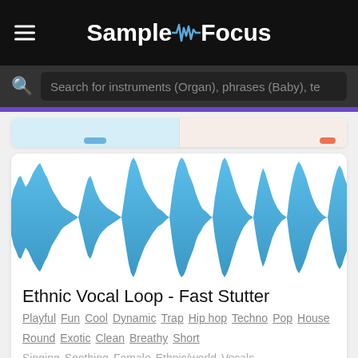SampleFocus
Search for instruments (Organ), phrases (Baby), te
[Figure (other): Audio waveform visualization for Ethnic Vocal Loop - Fast Stutter, showing blue waveform pattern]
Ethnic Vocal Loop - Fast Stutter
Playful Fun Cool Dynamic Trap Hip hop Techno Pop House Round Exotic Clean Breathy Short
Singing Soothing Female Ethnic/world Vocals
••• 111bpm ♪ C minor ⊙ 4.3s
♡ 13  By LP